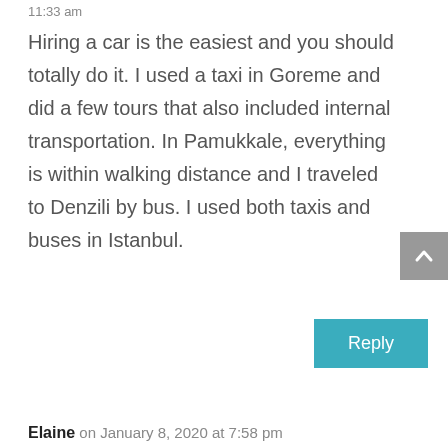11:33 am
Hiring a car is the easiest and you should totally do it. I used a taxi in Goreme and did a few tours that also included internal transportation. In Pamukkale, everything is within walking distance and I traveled to Denzili by bus. I used both taxis and buses in Istanbul.
Reply
Elaine on January 8, 2020 at 7:58 pm